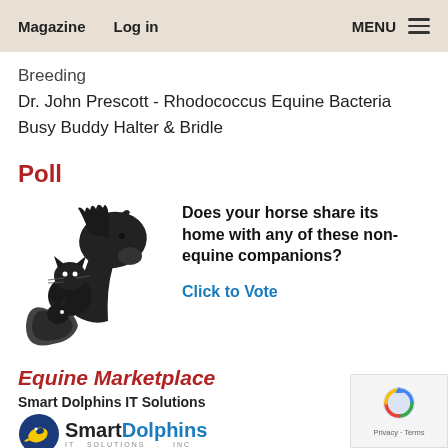Magazine   Log in   MENU
Breeding
Dr. John Prescott - Rhodococcus Equine Bacteria
Busy Buddy Halter & Bridle
Poll
[Figure (illustration): Silhouette illustration of a horse, cat, and squirrel grouped together]
Does your horse share its home with any of these non-equine companions?
Click to Vote
Equine Marketplace
Smart Dolphins IT Solutions
[Figure (logo): Smart Dolphins IT Solutions Inc logo with dolphin icon]
[Figure (other): reCAPTCHA badge with Privacy and Terms links]